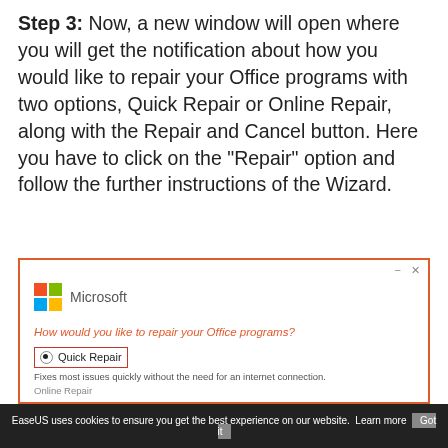Step 3: Now, a new window will open where you will get the notification about how you would like to repair your Office programs with two options, Quick Repair or Online Repair, along with the Repair and Cancel button. Here you have to click on the "Repair" option and follow the further instructions of the Wizard.
[Figure (screenshot): Screenshot of a Microsoft Office repair dialog showing the question 'How would you like to repair your Office programs?' with 'Quick Repair' option selected (radio button), a red border around the Quick Repair option, and text 'Fixes most issues quickly without the need for an internet connection.' A cookie consent bar appears at the bottom reading 'EaseUS uses cookies to ensure you get the best experience on our website. Learn more | Got it'.]